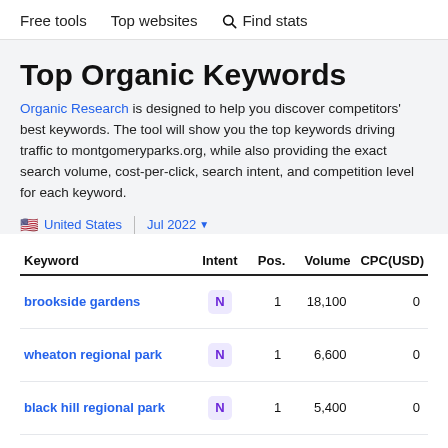Free tools   Top websites   Find stats
Top Organic Keywords
Organic Research is designed to help you discover competitors' best keywords. The tool will show you the top keywords driving traffic to montgomeryparks.org, while also providing the exact search volume, cost-per-click, search intent, and competition level for each keyword.
United States   Jul 2022
| Keyword | Intent | Pos. | Volume | CPC(USD) |
| --- | --- | --- | --- | --- |
| brookside gardens | N | 1 | 18,100 | 0 |
| wheaton regional park | N | 1 | 6,600 | 0 |
| black hill regional park | N | 1 | 5,400 | 0 |